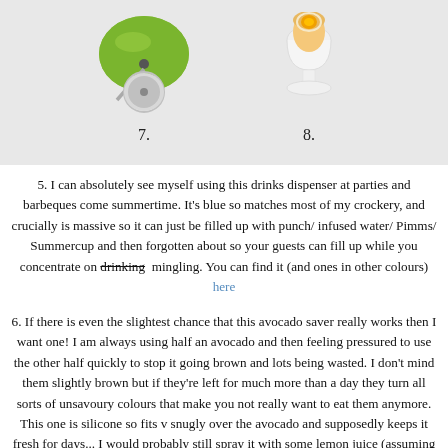[Figure (photo): Two product images on grey background: item 7 is a pizza cutter with green handle and stainless steel wheel, item 8 is a white ceramic egg cup holder with a soft-boiled egg.]
5. I can absolutely see myself using this drinks dispenser at parties and barbeques come summertime. It's blue so matches most of my crockery, and crucially is massive so it can just be filled up with punch/ infused water/ Pimms/ Summercup and then forgotten about so your guests can fill up while you concentrate on drinking  mingling. You can find it (and ones in other colours) here
6. If there is even the slightest chance that this avocado saver really works then I want one! I am always using half an avocado and then feeling pressured to use the other half quickly to stop it going brown and lots being wasted. I don't mind them slightly brown but if they're left for much more than a day they turn all sorts of unsavoury colours that make you not really want to eat them anymore. This one is silicone so fits v snugly over the avocado and supposedly keeps it fresh for days... I would probably still spray it with some lemon juice (assuming I've got the citrus